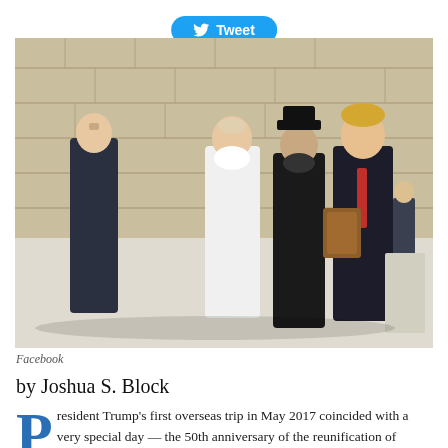[Figure (other): Tweet button with Twitter bird icon]
[Figure (photo): President Trump standing at the Western Wall in Jerusalem with rabbis, one holding a framed item; Jared Kushner visible in background on left; stone wall behind them.]
Facebook
by Joshua S. Block
President Trump's first overseas trip in May 2017 coincided with a very special day — the 50th anniversary of the reunification of Jerusalem. The